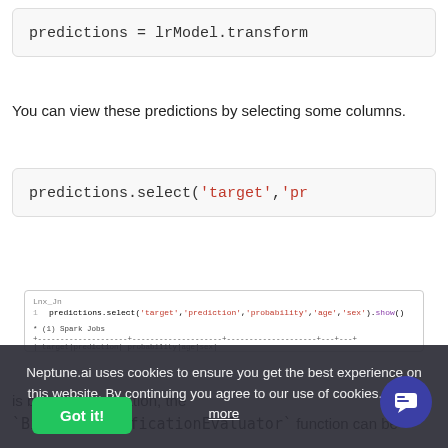[Figure (screenshot): Code block showing: predictions = lrModel.transform (truncated)]
You can view these predictions by selecting some columns.
[Figure (screenshot): Code block showing: predictions.select('target','pr (truncated)]
[Figure (screenshot): Jupyter notebook screenshot showing: predictions.select('target','prediction','probability','age','sex').show() with output table header row]
is binary classification, the `BinaryClassificationEvaluator` function can be
Neptune.ai uses cookies to ensure you get the best experience on this website. By continuing you agree to our use of cookies. Learn more